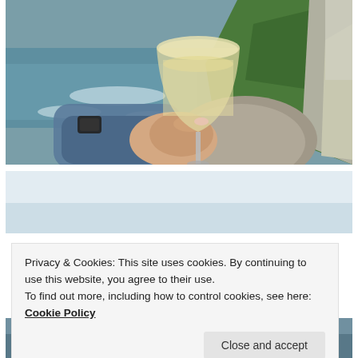[Figure (photo): A hand holding a glass of white wine with a rocky coastal cliff and ocean waves in the background. Person wearing a dark jacket and smartwatch.]
[Figure (photo): A light grey sky scene, mostly empty pale sky.]
Privacy & Cookies: This site uses cookies. By continuing to use this website, you agree to their use.
To find out more, including how to control cookies, see here: Cookie Policy
[Figure (photo): Partial view of a coastal/beach scene at the bottom of the page.]